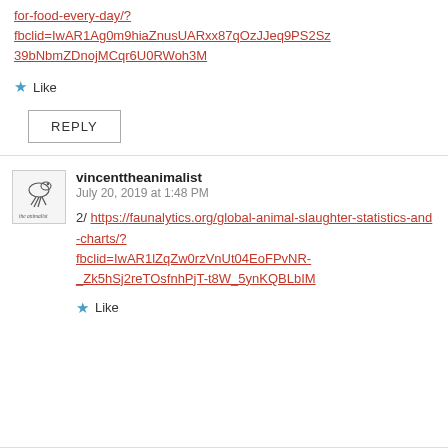for-food-every-day/?fbclid=IwAR1Ag0m9hiaZnusUARxx87qOzJJeq9PS2Sz39bNbmZDnojMCqr6U0RWoh3M
Like
REPLY
vincenttheanimalist
July 20, 2019 at 1:48 PM
2/ https://faunalytics.org/global-animal-slaughter-statistics-and-charts/?fbclid=IwAR1lZqZw0rzVnUt04EoFPvNR-_Zk5hSj2reTOsfnhPjT-t8W_5ynKQBLbIM
Like